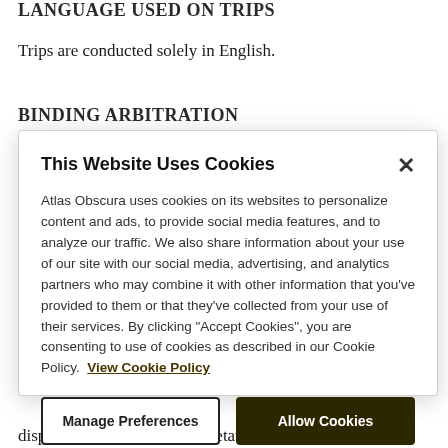LANGUAGE USED ON TRIPS
Trips are conducted solely in English.
BINDING ARBITRATION
[Figure (screenshot): Cookie consent modal dialog from Atlas Obscura website. Contains title 'This Website Uses Cookies', body text explaining cookie usage, a 'View Cookie Policy' link, and two buttons: 'Manage Preferences' and 'Allow Cookies'.]
dispute relating to the interpretation, applicability,